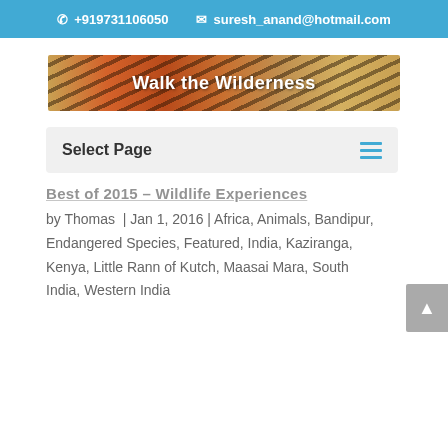+919731106050  suresh_anand@hotmail.com
[Figure (illustration): Walk the Wilderness banner with tiger stripe background pattern and white bold text]
Select Page
Best of 2015 – Wildlife Experiences
by Thomas | Jan 1, 2016 | Africa, Animals, Bandipur, Endangered Species, Featured, India, Kaziranga, Kenya, Little Rann of Kutch, Maasai Mara, South India, Western India